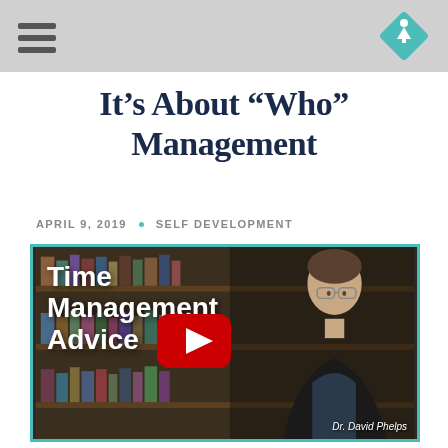[hamburger menu icon] [diamond logo icon]
It’s About “Who” Management
APRIL 9, 2019 • SELF DEVELOPMENT
[Figure (screenshot): Video thumbnail showing 'Time Management Advice' text overlay with a YouTube play button, and Dr. David Phelps on the right side in front of a bookshelf background]